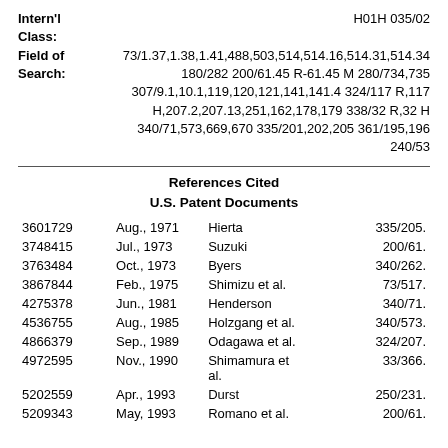Intern'l Class: H01H 035/02
Field of Search: 73/1.37,1.38,1.41,488,503,514,514.16,514.31,514.34 180/282 200/61.45 R-61.45 M 280/734,735 307/9.1,10.1,119,120,121,141,141.4 324/117 R,117 H,207.2,207.13,251,162,178,179 338/32 R,32 H 340/71,573,669,670 335/201,202,205 361/195,196 240/53
References Cited
U.S. Patent Documents
|  |  |  |  |
| --- | --- | --- | --- |
| 3601729 | Aug., 1971 | Hierta | 335/205. |
| 3748415 | Jul., 1973 | Suzuki | 200/61. |
| 3763484 | Oct., 1973 | Byers | 340/262. |
| 3867844 | Feb., 1975 | Shimizu et al. | 73/517. |
| 4275378 | Jun., 1981 | Henderson | 340/71. |
| 4536755 | Aug., 1985 | Holzgang et al. | 340/573. |
| 4866379 | Sep., 1989 | Odagawa et al. | 324/207. |
| 4972595 | Nov., 1990 | Shimamura et al. | 33/366. |
| 5202559 | Apr., 1993 | Durst | 250/231. |
| 5209343 | May, 1993 | Romano et al. | 200/61. |